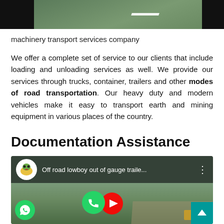[Figure (photo): Top banner image showing a road with a white lane marking, flanked by black bars on the left and right sides]
machinery transport services company
We offer a complete set of service to our clients that include loading and unloading services as well. We provide our services through trucks, container, trailers and other modes of road transportation. Our heavy duty and modern vehicles make it easy to transport earth and mining equipment in various places of the country.
Documentation Assistance
[Figure (screenshot): YouTube video thumbnail showing 'Off road lowboy out of gauge traile...' with a channel icon, road and landscape background, YouTube play button overlay, WhatsApp chat button, and scroll-to-top button]